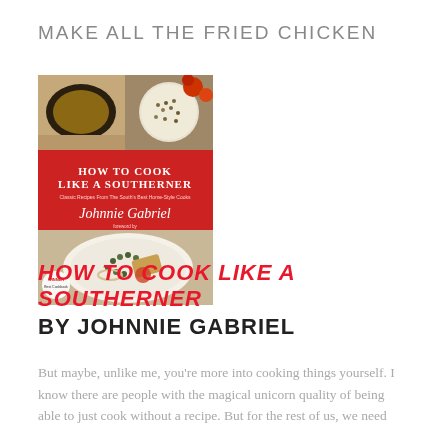MAKE ALL THE FRIED CHICKEN
[Figure (photo): Book cover of 'How To Cook Like A Southerner' by Johnnie Gabriel, with red background, food photography collage at top and bottom]
HOW TO COOK LIKE A SOUTHERNER BY JOHNNIE GABRIEL
But maybe, unlike me, you're more into cooking things yourself. I know there are people with the magical unicorn quality of being able to just cook without a recipe. But for the rest of us, we need